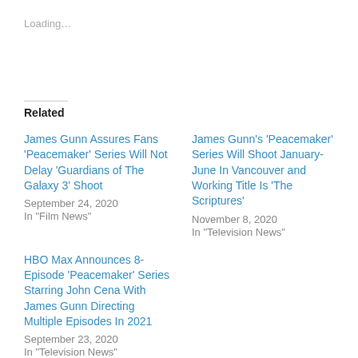Loading…
Related
James Gunn Assures Fans 'Peacemaker' Series Will Not Delay 'Guardians of The Galaxy 3' Shoot
September 24, 2020
In "Film News"
James Gunn's 'Peacemaker' Series Will Shoot January-June In Vancouver and Working Title Is 'The Scriptures'
November 8, 2020
In "Television News"
HBO Max Announces 8-Episode 'Peacemaker' Series Starring John Cena With James Gunn Directing Multiple Episodes In 2021
September 23, 2020
In "Television News"